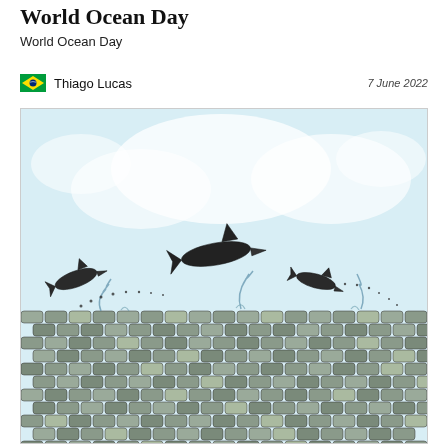World Ocean Day
World Ocean Day
Thiago Lucas   7 June 2022
[Figure (illustration): Illustration showing dolphins leaping out of an ocean made of stacked tin cans/barrels, with a light blue cloudy sky in the background. The ocean surface is depicted as densely packed cylindrical containers (cans or barrels), and three dolphins are shown jumping through the air above this mass of containers, with water/liquid splashing around them.]